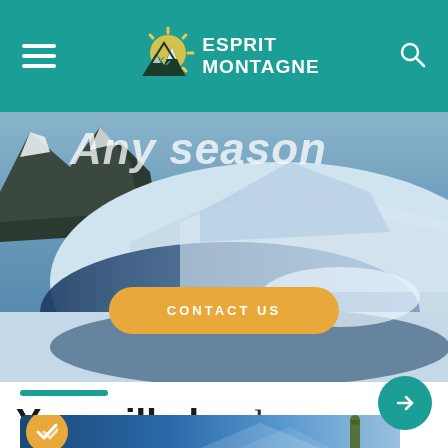ESPRIT MONTAGNE
[Figure (photo): Snowy mountain landscape with blue shadows and glacier, hero banner image with partially visible italic heading text and a yellow 'CONTACT US' pill button]
You will also love
[Figure (photo): Mountaineer silhouette against a vivid blue sky with snowy peak, bottom card with gold checkmark badge and teal arrow navigation button]